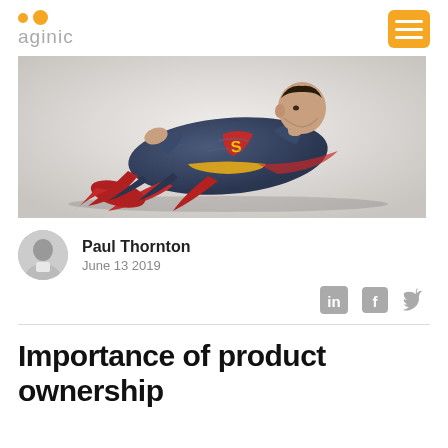aginic
[Figure (photo): A Superman action figure lying on its side on a light gray background, wearing a dark blue suit with the iconic S emblem in red and yellow, with a red cape.]
Paul Thornton
June 13 2019
[Figure (other): Social share icons: LinkedIn, Facebook, Twitter]
Importance of product ownership